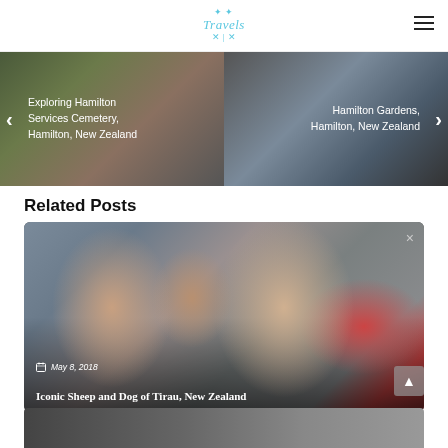Travels
[Figure (photo): Website slider showing two travel photos side by side. Left side: Exploring Hamilton Services Cemetery, Hamilton, New Zealand. Right side: Hamilton Gardens, Hamilton, New Zealand. Navigation arrows on both sides.]
Related Posts
[Figure (photo): Family photo taken in Tirau, New Zealand. Three people posing in front of a corrugated metal structure with TIRAU sign visible. A red umbrella is partially visible on the right.]
May 8, 2018
Iconic Sheep and Dog of Tirau, New Zealand
[Figure (photo): Partial view of another related post photo at the bottom of the page.]